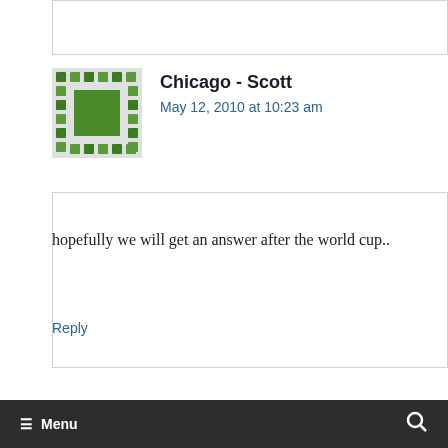Chicago - Scott
May 12, 2010 at 10:23 am
hopefully we will get an answer after the world cup..
Reply
≡ Menu 🔍